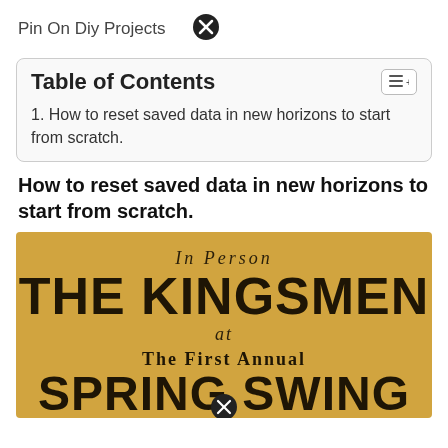Pin On Diy Projects
| Table of Contents |
| --- |
| 1. How to reset saved data in new horizons to start from scratch. |
How to reset saved data in new horizons to start from scratch.
[Figure (photo): Vintage poster: In Person THE KINGSMEN at The First Annual SPRING SWING]